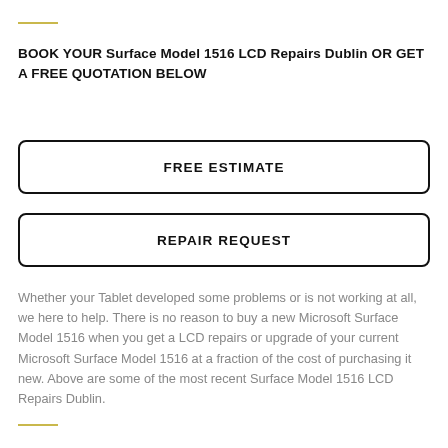BOOK YOUR Surface Model 1516 LCD Repairs Dublin OR GET A FREE QUOTATION BELOW
FREE ESTIMATE
REPAIR REQUEST
Whether your Tablet developed some problems or is not working at all, we here to help. There is no reason to buy a new Microsoft Surface Model 1516 when you get a LCD repairs or upgrade of your current Microsoft Surface Model 1516 at a fraction of the cost of purchasing it new. Above are some of the most recent Surface Model 1516 LCD Repairs Dublin.